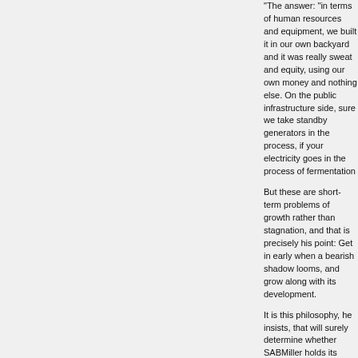"The answer: "in terms of human resources and equipment, we built it in our own backyard and it was really sweat and equity, using our own money and nothing else. On the public infrastructure side, sure we take standby generators in the process, if your electricity goes in the process of fermentation
But these are short-term problems of growth rather than stagnation, and that is precisely his point: Get in early when a bearish shadow looms, and grow along with its development.
It is this philosophy, he insists, that will surely determine whether SABMiller holds its partners and squeezes out profits from a larger consumer market.
"It's simple really: as the country develops, ordinary people get more money and that money will come back to beer."
Most of all, he lauds the partnership model for opening an avenue to governments that would otherwise be closed to foreign corporations: "We sit down and say we don't have a viable business if you tax at that rate. Get your taxes down and get more money back from profits you make as a partner. And the fact that it teaches a lot of dos and don'ts in local conditions, it means you take a smaller share, but the benefits of being a force for good in that country outweighs the fact that you are sharing your profits."
Small wonder, then, that the past decade has seen the Group's African portfolio include Nile Breweries in Uganda, TBL in Tanzania, Accra Breweries in Ghana plc, and a Lubango-based brewery in Angola, among many others.
But the success stories Parker likes to hold up are Tanzania and Uganda. SAB invested in Tanzania in 1994 with an initial stake of 46 percent, through a partnership with the government of Tanzania. The Group's cumulative investment, producing a broad range of consumer products including clear
With an investment of $75mn in extensive capacity expansion programmes, the Group constructed a new brewery at Mwanza and undertook productivity improvements in all areas.
"Then there was the ownership issue," says Parker, "which, as you know, means disinvesting in favour of listing on the new local stock exchange, giving over 2,000 Tanzanian shareholders."